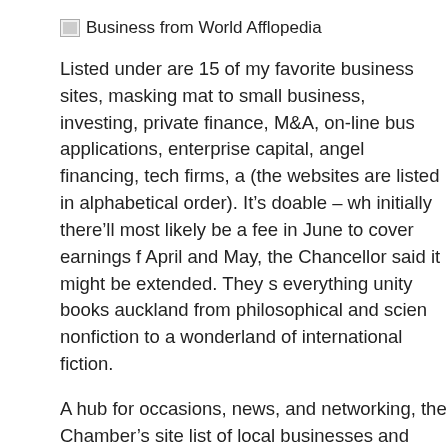Business from World Afflopedia
Listed under are 15 of my favorite business sites, masking mat to small business, investing, private finance, M&A, on-line bus applications, enterprise capital, angel financing, tech firms, a (the websites are listed in alphabetical order). It’s doable – wh initially there’ll most likely be a fee in June to cover earnings f April and May, the Chancellor said it might be extended. They s everything unity books auckland from philosophical and scien nonfiction to a wonderland of international fiction.
A hub for occasions, news, and networking, the Chamber’s site list of local businesses and members. By offering digitised HR a plus worker advantages, we simplify individuals administratio you possibly can focus on rising your business. Maintains a auth extensive perspective in coordinating financial administratio protection, and gives functional direction on issues of mant